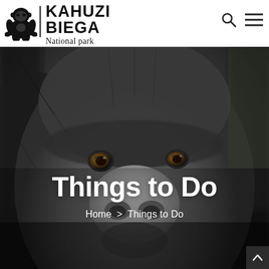[Figure (screenshot): Kahuzi-Biega National Park website header with gorilla logo on white background, search icon and hamburger menu icon on the right]
[Figure (photo): Close-up photograph of a gorilla face filling the entire background, black and grey fur, brown eyes, looking slightly to the right]
Things to Do
Home > Things to Do